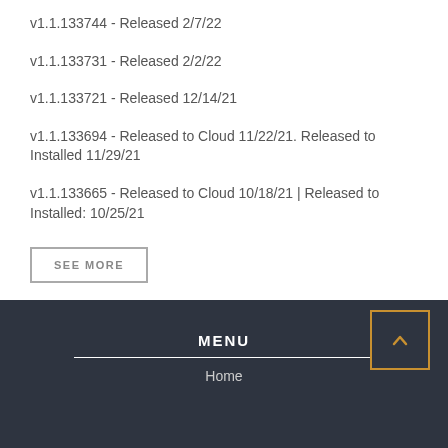v1.1.133744 - Released 2/7/22
v1.1.133731 - Released 2/2/22
v1.1.133721 - Released 12/14/21
v1.1.133694 - Released to Cloud 11/22/21. Released to Installed 11/29/21
v1.1.133665 - Released to Cloud 10/18/21 | Released to Installed: 10/25/21
SEE MORE
MENU
Home